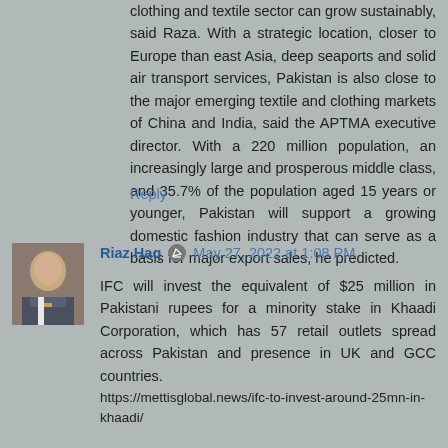clothing and textile sector can grow sustainably, said Raza. With a strategic location, closer to Europe than east Asia, deep seaports and solid air transport services, Pakistan is also close to the major emerging textile and clothing markets of China and India, said the APTMA executive director. With a 220 million population, an increasingly large and prosperous middle class, and 35.7% of the population aged 15 years or younger, Pakistan will support a growing domestic fashion industry that can serve as a basis for major export sales, he predicted.
Reply
[Figure (photo): Avatar photo of Riaz Haq, an older man in a suit and tie]
Riaz Haq  May 27, 2022 at 1:08 PM
IFC will invest the equivalent of $25 million in Pakistani rupees for a minority stake in Khaadi Corporation, which has 57 retail outlets spread across Pakistan and presence in UK and GCC countries.
https://mettisglobal.news/ifc-to-invest-around-25mn-in-khaadi/